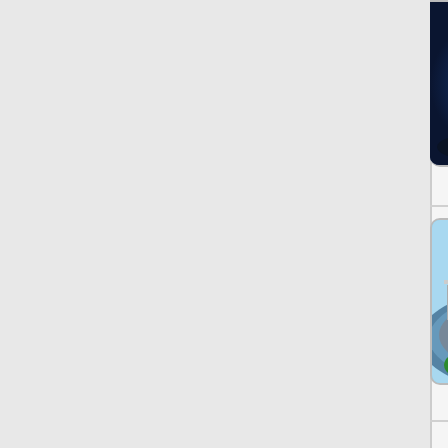[Figure (screenshot): Game thumbnail for Drunken Boxing showing blue and orange blob-like characters on dark background]
Drunken Boxing
[Figure (screenshot): Game thumbnail for World Cricket (partially visible) showing cricket players]
World C
[Figure (screenshot): Game thumbnail for Keepy Ups Soccer showing a soccer ball above a stadium]
Keepy Ups Soccer
[Figure (screenshot): Game thumbnail for Frisbee (partially visible) showing blue/teal frisbee disc]
Frisbe
[Figure (screenshot): Game thumbnail for Head Sport Basketball showing cartoon character with basketball hoop and crowd]
Head Sport Basketball
[Figure (screenshot): Game thumbnail for Bouncing game (partially visible) with dark background and circular shape]
Bou